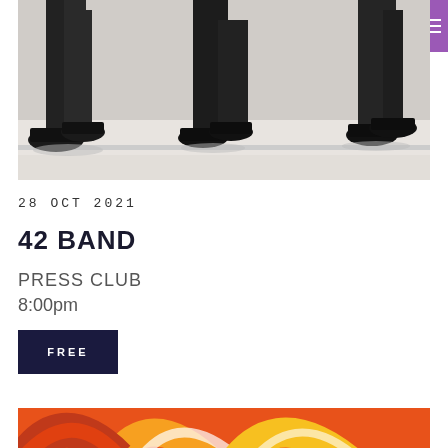QMUSIC | Login | SIGN UP
[Figure (photo): Black and white photo showing feet and lower legs of three people in dress shoes walking, viewed from ground level]
28 OCT 2021
42 BAND
PRESS CLUB
8:00pm
FREE
[Figure (illustration): Colorful abstract illustration with orange, red, and yellow circular arc shapes on an orange background]